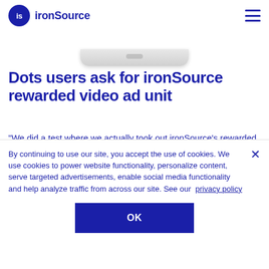ironSource
[Figure (illustration): Bottom portion of a mobile phone device shown at the top of the page]
Dots users ask for ironSource rewarded video ad unit
“We did a test where we actually took out ironSource’s rewarded video ad unit. But then we saw a lot of negative reviews in the Google Play Store. So we knew that users were very happy with the ad unit and it was incorporated well into the game.”
By continuing to use our site, you accept the use of cookies. We use cookies to power website functionality, personalize content, serve targeted advertisements, enable social media functionality and help analyze traffic from across our site. See our privacy policy